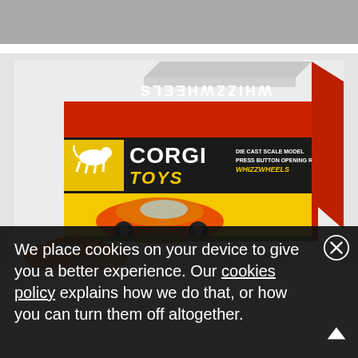[Figure (photo): Top portion: gray fabric/background. Bottom portion: photo of a Corgi Toys Whizzwheels die-cast scale model toy car box (orange and yellow, with a car graphic) placed on a white surface, with an orange toy car partially visible in front of the box.]
We place cookies on your device to give you a better experience. Our cookies policy explains how we do that, or how you can turn them off altogether.